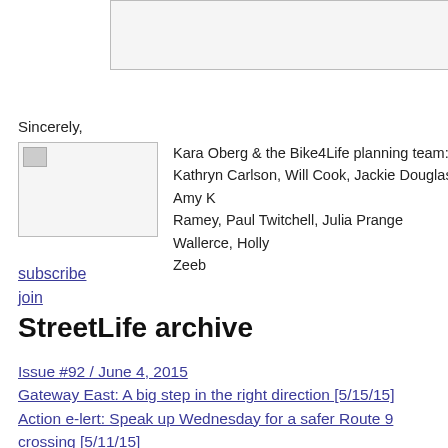[Figure (other): Top rectangular box/image area (cropped at top of page)]
Sincerely,
[Figure (other): Signature image placeholder]
Kara Oberg & the Bike4Life planning team: Kathryn Carlson, Will Cook, Jackie Douglas, Amy K Ramey, Paul Twitchell, Julia Prange Wallerce, Holly Zeeb
subscribe
join
StreetLife archive
Issue #92 / June 4, 2015
Gateway East: A big step in the right direction [5/15/15]
Action e-lert: Speak up Wednesday for a safer Route 9 crossing [5/11/15]
[5/7/2015] Join us for lunch and see Mayor Walsh tomorrow
Action e-lert: Defend progress on the Casey tomorrow